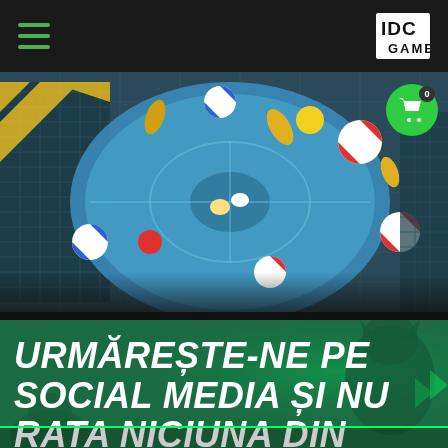IDC GAMES
[Figure (screenshot): Top-down view of a colorful multiplayer game arena with beach balls, balloons in red/white, blue/white, yellow colors scattered on a blue circular platform with grid/metal floor surroundings]
URMĂREȘTE-NE PE SOCIAL MEDIA ȘI NU RATA NICIUNA DIN PROMOȚIILE NOASTRE!